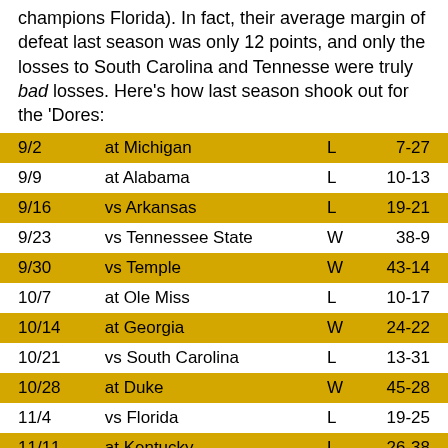champions Florida). In fact, their average margin of defeat last season was only 12 points, and only the losses to South Carolina and Tennesse were truly bad losses. Here's how last season shook out for the 'Dores:
| Date | Opponent |  | Result |
| --- | --- | --- | --- |
| 9/2 | at Michigan | L | 7-27 |
| 9/9 | at Alabama | L | 10-13 |
| 9/16 | vs Arkansas | L | 19-21 |
| 9/23 | vs Tennessee State | W | 38-9 |
| 9/30 | vs Temple | W | 43-14 |
| 10/7 | at Ole Miss | L | 10-17 |
| 10/14 | at Georgia | W | 24-22 |
| 10/21 | vs South Carolina | L | 13-31 |
| 10/28 | at Duke | W | 45-28 |
| 11/4 | vs Florida | L | 19-25 |
| 11/11 | at Kentucky | L | 26-38 |
| 11/18 | vs Tennessee | L | 10-39 |
While their average margin of defeat was only 12